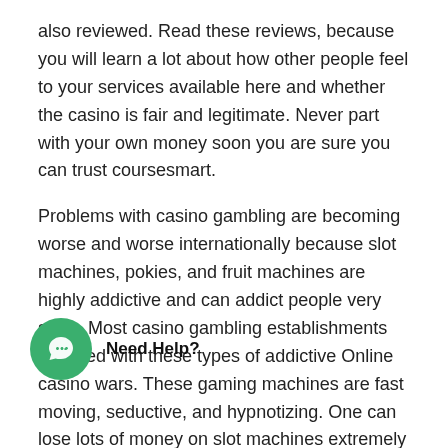also reviewed. Read these reviews, because you will learn a lot about how other people feel to your services available here and whether the casino is fair and legitimate. Never part with your own money soon you are sure you can trust coursesmart.
Problems with casino gambling are becoming worse and worse internationally because slot machines, pokies, and fruit machines are highly addictive and can addict people very short. Most casino gambling establishments are filled with these types of addictive Online casino wars. These gaming machines are fast moving, seductive, and hypnotizing. One can lose lots of money on slot machines extremely extremely fast.
It vital to take a look at two key with this no deposit feature. The original involves how some casinos will after you have no deposit m to ieties of games at the casino. For example, a new player might merely be able perform slots or blackjack games at an internet casino with will money.
[Figure (other): Green circular chat widget button with a chat icon, labeled 'Need Help?' to its right]